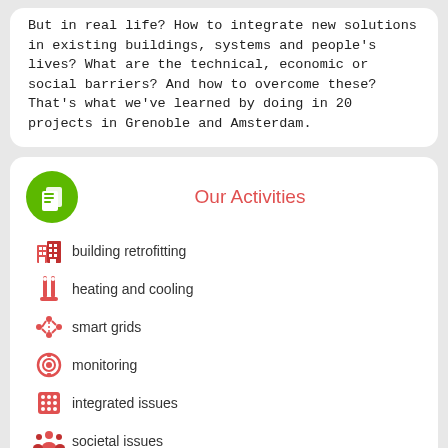But in real life? How to integrate new solutions in existing buildings, systems and people's lives? What are the technical, economic or social barriers? And how to overcome these? That's what we've learned by doing in 20 projects in Grenoble and Amsterdam.
Our Activities
building retrofitting
heating and cooling
smart grids
monitoring
integrated issues
societal issues
Achieved Impacts